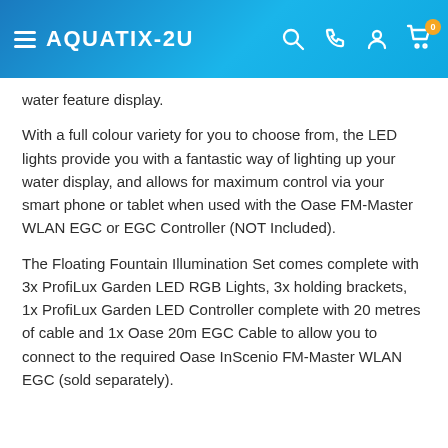AQUATIX-2U
water feature display.
With a full colour variety for you to choose from, the LED lights provide you with a fantastic way of lighting up your water display, and allows for maximum control via your smart phone or tablet when used with the Oase FM-Master WLAN EGC or EGC Controller (NOT Included).
The Floating Fountain Illumination Set comes complete with 3x ProfiLux Garden LED RGB Lights, 3x holding brackets, 1x ProfiLux Garden LED Controller complete with 20 metres of cable and 1x Oase 20m EGC Cable to allow you to connect to the required Oase InScenio FM-Master WLAN EGC (sold separately).